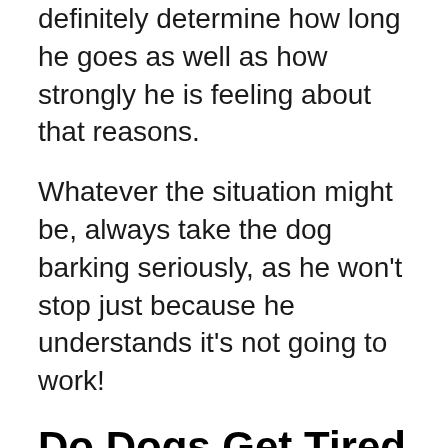definitely determine how long he goes as well as how strongly he is feeling about that reasons.
Whatever the situation might be, always take the dog barking seriously, as he won't stop just because he understands it's not going to work!
Do Dogs Get Tired From Barking?
While it may seem like it takes no effort at all, barking does get dogs tired. As mentioned, it's the same as